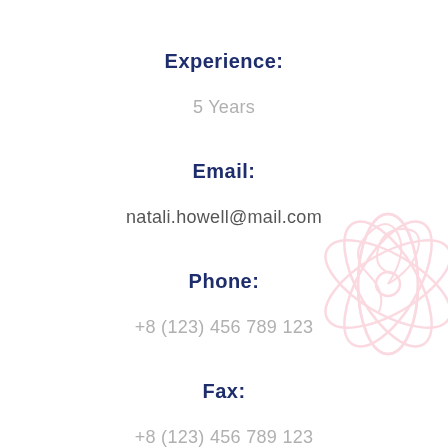Experience:
5 Years
Email:
natali.howell@mail.com
Phone:
+8 (123) 456 789 123
Fax:
+8 (123) 456 789 123
[Figure (illustration): Decorative pink swirl/floral background element in bottom-right corner]
[Figure (illustration): Three social media icons in a row: Twitter (blue), Facebook (dark blue), Pinterest (pink/red)]